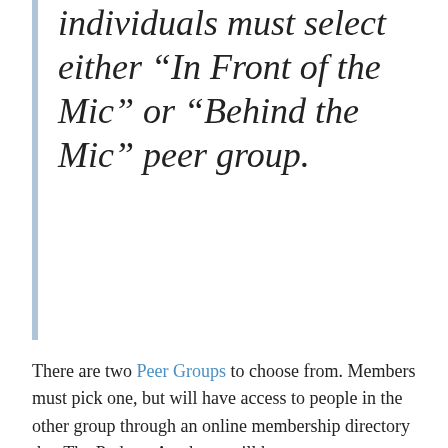individuals must select either “In Front of the Mic” or “Behind the Mic” peer group.
There are two Peer Groups to choose from. Members must pick one, but will have access to people in the other group through an online membership directory that The Podcast Academy will host.
In Front of the Mic: To join this peer group you must have credit as a Performer, Guest, Host or Co-Host on at least one (1) podcast program with a cumulative run time of three (3) hours or speaking on the microphone in at least three (3) episodes in the proceeding (2) years.